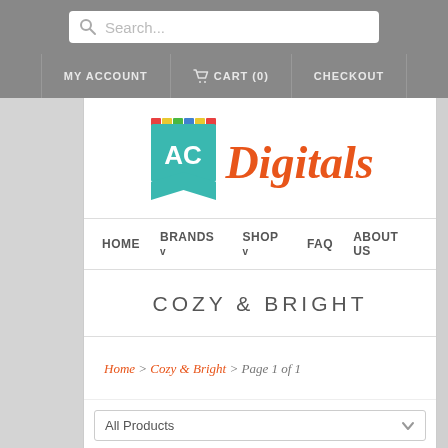Search...
MY ACCOUNT  CART (0)  CHECKOUT
[Figure (logo): AC Digitals logo with teal ribbon badge containing 'AC' and orange italic 'Digitals' script text]
HOME  BRANDS v  SHOP v  FAQ  ABOUT US
COZY & BRIGHT
Home > Cozy & Bright > Page 1 of 1
All Products
SALE  Cozy & Bright